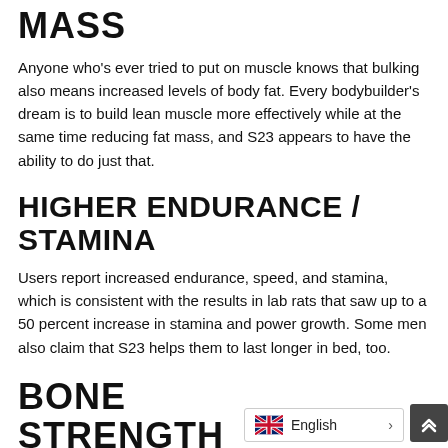MASS
Anyone who’s ever tried to put on muscle knows that bulking also means increased levels of body fat. Every bodybuilder’s dream is to build lean muscle more effectively while at the same time reducing fat mass, and S23 appears to have the ability to do just that.
HIGHER ENDURANCE / STAMINA
Users report increased endurance, speed, and stamina, which is consistent with the results in lab rats that saw up to a 50 percent increase in stamina and power growth. Some men also claim that S23 helps them to last longer in bed, too.
BONE STRENGTH